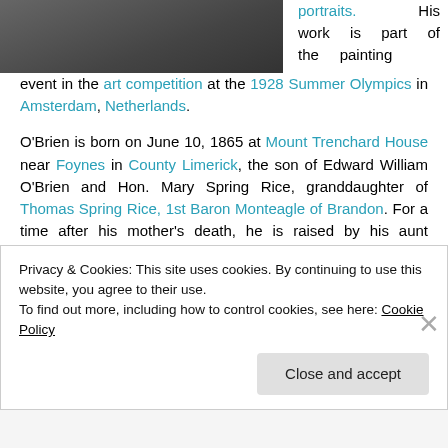[Figure (photo): Partial view of a man in a suit jacket, appears to be a black and white portrait photograph cropped at the top of the page]
portraits. His work is part of the painting event in the art competition at the 1928 Summer Olympics in Amsterdam, Netherlands.
O'Brien is born on June 10, 1865 at Mount Trenchard House near Foynes in County Limerick, the son of Edward William O'Brien and Hon. Mary Spring Rice, granddaughter of Thomas Spring Rice, 1st Baron Monteagle of Brandon. For a time after his mother's death, he is raised by his aunt Charlotte Grace O'Brien, along with his sisters, Nelly and Lucy. His father
Privacy & Cookies: This site uses cookies. By continuing to use this website, you agree to their use.
To find out more, including how to control cookies, see here: Cookie Policy
Close and accept